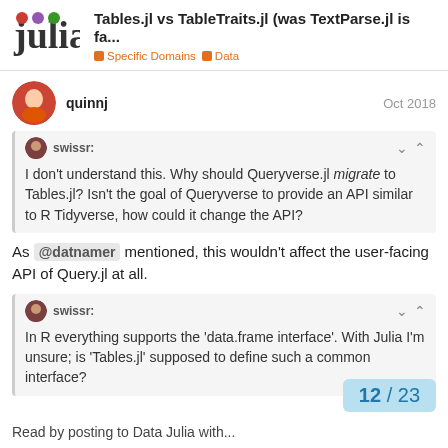Tables.jl vs TableTraits.jl (was TextParse.jl is fa... | Specific Domains > Data
quinnj — Oct 2018
swissr: I don't understand this. Why should Queryverse.jl migrate to Tables.jl? Isn't the goal of Queryverse to provide an API similar to R Tidyverse, how could it change the API?
As @datnamer mentioned, this wouldn't affect the user-facing API of Query.jl at all.
swissr: In R everything supports the 'data.frame interface'. With Julia I'm unsure; is 'Tables.jl' supposed to define such a common interface?
12 / 23
Read by posting to Data Julia with...